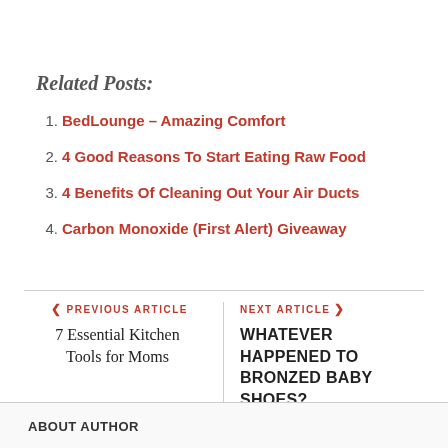Related Posts:
1. BedLounge – Amazing Comfort
2. 4 Good Reasons To Start Eating Raw Food
3. 4 Benefits Of Cleaning Out Your Air Ducts
4. Carbon Monoxide (First Alert) Giveaway
< PREVIOUS ARTICLE
7 Essential Kitchen Tools for Moms
NEXT ARTICLE >
WHATEVER HAPPENED TO BRONZED BABY SHOES?
ABOUT AUTHOR